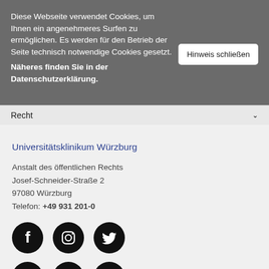Diese Webseite verwendet Cookies, um Ihnen ein angenehmeres Surfen zu ermöglichen. Es werden für den Betrieb der Seite technisch notwendige Cookies gesetzt. Näheres finden Sie in der Datenschutzerklärung.
Hinweis schließen
Recht
Universitätsklinikum Würzburg
Anstalt des öffentlichen Rechts
Josef-Schneider-Straße 2
97080 Würzburg
Telefon: +49 931 201-0
[Figure (logo): Row of social media icons: Facebook, Instagram, Twitter (circular black icons)]
[Figure (logo): Row of social media icons: YouTube/Play, LinkedIn, Xing (circular black icons)]